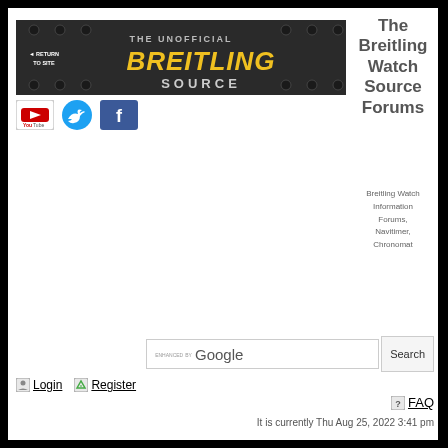[Figure (logo): The Unofficial Breitling Source banner logo with metallic dark background, yellow BREITLING text, grey SOURCE text, and RETURN TO SITE button on left]
[Figure (logo): YouTube logo icon - white background with red/black YouTube branding]
[Figure (logo): Twitter bird icon - blue circle with white bird]
[Figure (logo): Facebook logo - blue square with white f]
The Breitling Watch Source Forums
Breitling Watch Information Forums, Navitimer, Chronomat
ENHANCED BY Google
Search
Login
Register
FAQ
It is currently Thu Aug 25, 2022 3:41 pm